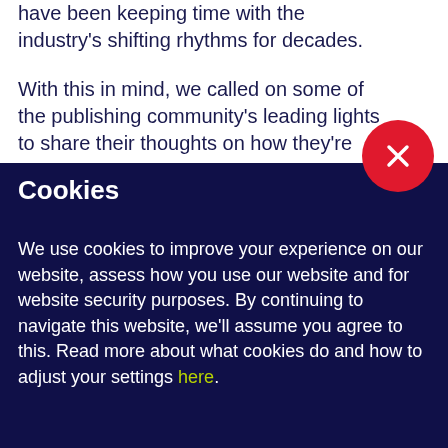have been keeping time with the industry's shifting rhythms for decades.
With this in mind, we called on some of the publishing community's leading lights to share their thoughts on how they're
Cookies
We use cookies to improve your experience on our website, assess how you use our website and for website security purposes. By continuing to navigate this website, we'll assume you agree to this. Read more about what cookies do and how to adjust your settings here.